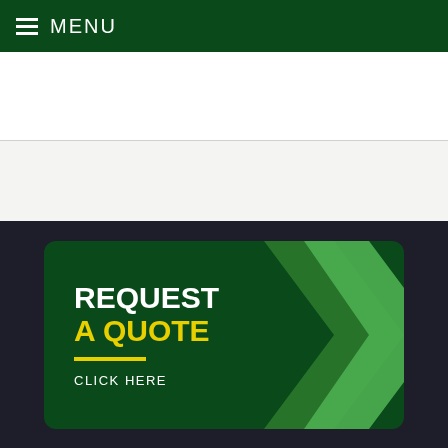MENU
[Figure (infographic): Request a Quote button with dark green background, yellow 'A QUOTE' text, white 'REQUEST' text, yellow underline, 'CLICK HERE' text, and green chevron arrows on the right side]